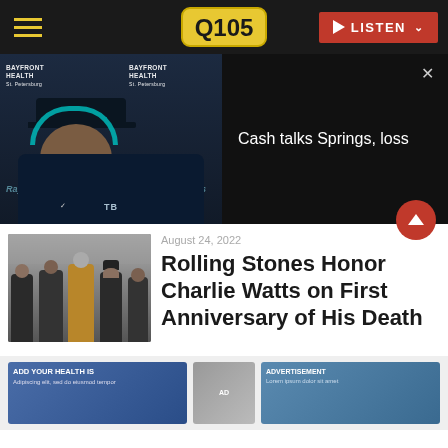Q105 — LISTEN
[Figure (screenshot): Video panel showing a Tampa Bay Rays manager at a press conference with Bayfront Health banners, with a notification overlay reading 'Cash talks Springs, loss']
Cash talks Springs, loss
[Figure (photo): The Rolling Stones group photo — band members in dark jackets with one in a gold jacket, crowd behind them]
August 24, 2022
Rolling Stones Honor Charlie Watts on First Anniversary of His Death
[Figure (photo): Bottom advertising strip with three ad cards]